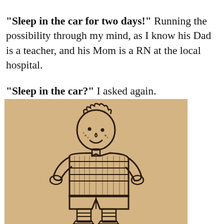“Sleep in the car for two days!” Running the possibility through my mind, as I know his Dad is a teacher, and his Mom is a RN at the local hospital.
“Sleep in the car?” I asked again.
[Figure (illustration): A cartoon line drawing of a young boy standing with hands on hips, smiling, wearing a striped shirt and shorts with socks and shoes, drawn in dark ink on a tan/kraft paper background.]